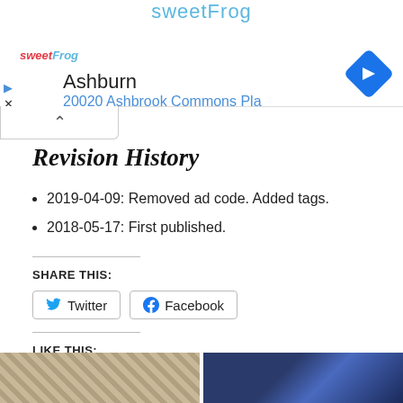[Figure (screenshot): sweetFrog ad banner showing logo, location 'Ashburn', address '20020 Ashbrook Commons Pla', navigation diamond icon, play and close buttons, and a collapse arrow bar below]
Revision History
2019-04-09: Removed ad code. Added tags.
2018-05-17: First published.
SHARE THIS:
[Figure (screenshot): Share buttons: Twitter and Facebook]
LIKE THIS:
Loading...
[Figure (photo): Two partial thumbnail images at the bottom of the page]